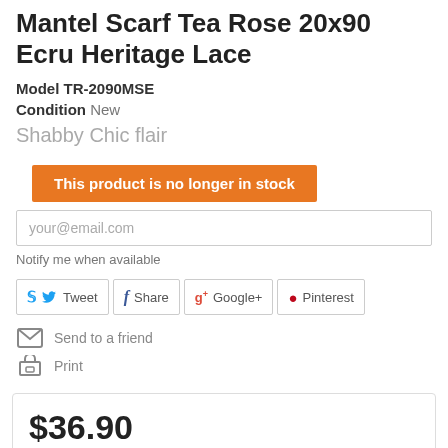Mantel Scarf Tea Rose 20x90 Ecru Heritage Lace
Model TR-2090MSE
Condition New
Shabby Chic flair
This product is no longer in stock
your@email.com
Notify me when available
Tweet  Share  Google+  Pinterest
Send to a friend
Print
$36.90  -10%  $41.00